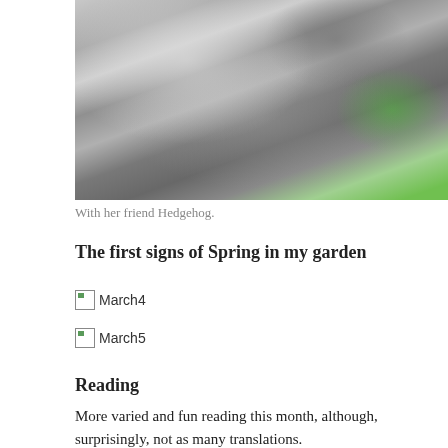[Figure (photo): A cat lying on green grass, photographed from above, with grey and white fur visible]
With her friend Hedgehog.
The first signs of Spring in my garden
[Figure (photo): Broken image placeholder labeled March4]
[Figure (photo): Broken image placeholder labeled March5]
Reading
More varied and fun reading this month, although, surprisingly, not as many translations.
3 non-fiction books: